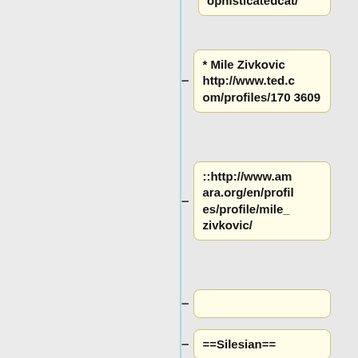ophisticatedcat/
* Mile Zivkovic http://www.ted.com/profiles/1703609
::http://www.amara.org/en/profiles/profile/mile_zivkovic/
==Silesian==
* Krystian Aparta http://www.ted.com/profiles/78265
::http://www.amara.org/en/profil